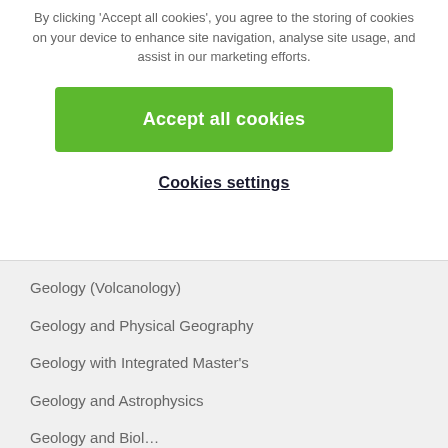By clicking 'Accept all cookies', you agree to the storing of cookies on your device to enhance site navigation, analyse site usage, and assist in our marketing efforts.
Accept all cookies
Cookies settings
Geology (Volcanology)
Geology and Physical Geography
Geology with Integrated Master's
Geology and Astrophysics
Geology and Biol…